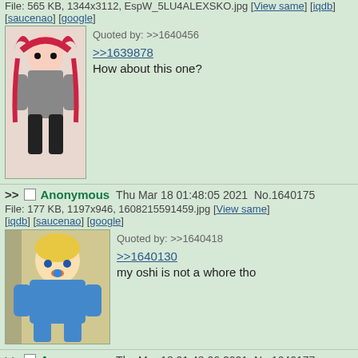File: 565 KB, 1344x3112, EspW_5LU4ALEXSKO.jpg [View same] [iqdb] [saucenao] [google]
[Figure (illustration): Anime girl with red twin-tails hair]
Quoted by: >>1640456
>>1639878
How about this one?
Anonymous Thu Mar 18 01:48:05 2021 No.1640175
File: 177 KB, 1197x946, 1608215591459.jpg [View same] [iqdb] [saucenao] [google]
[Figure (illustration): Anime girl with blonde hair in blue outfit]
Quoted by: >>1640418
>>1640130
my oshi is not a whore tho
Anonymous Thu Mar 18 01:48:06 2021 No.1640177
File: 667 KB, 2508x3408, 1604606849615.jpg [View same] [iqdb] [saucenao] [google]
[Figure (illustration): Anime girl with white/silver hair]